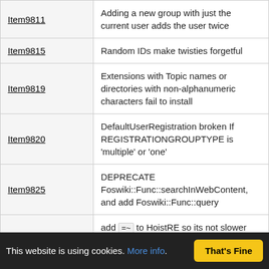| Item | Description |
| --- | --- |
| Item9811 | Adding a new group with just the current user adds the user twice |
| Item9815 | Random IDs make twisties forgetful |
| Item9819 | Extensions with Topic names or directories with non-alphanumeric characters fail to install |
| Item9820 | DefaultUserRegistration broken If REGISTRATIONGROUPTYPE is 'multiple' or 'one' |
| Item9825 | DEPRECATE Foswiki::Func::searchInWebContent, and add Foswiki::Func::query |
| Item9826 | add =~ to HoistRE so its not slower than using type='regex' - this limits its use to the documented System.RegularExpression |
| Item9827 | Foswiki::Meta interface change breaks plugins |
| Item9828 | ImageGalleryPlugin not working on Foswiki 1.1.0 because of bug in JQueryPlugin |
| Item9831 | WikiGroups GUI broken if PasswordManager is none |
This website is using cookies. More info. That's Fine